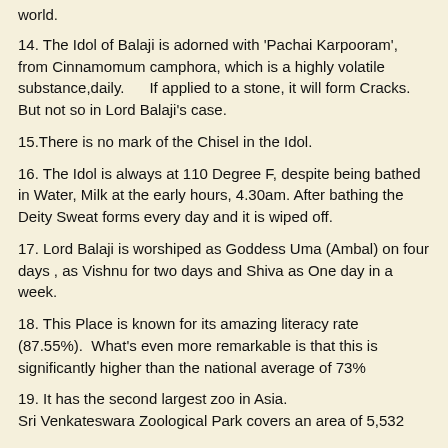world.
14. The Idol of Balaji is adorned with ‘Pachai Karpooram’, from Cinnamomum camphora, which is a highly volatile substance,daily.      If applied to a stone, it will form Cracks. But not so in Lord Balaji’s case.
15.There is no mark of the Chisel in the Idol.
16. The Idol is always at 110 Degree F, despite being bathed in Water, Milk at the early hours, 4.30am. After bathing the Deity Sweat forms every day and it is wiped off.
17. Lord Balaji is worshiped as Goddess Uma (Ambal) on four days , as Vishnu for two days and Shiva as One day in a week.
18. This Place is known for its amazing literacy rate (87.55%).  What’s even more remarkable is that this is significantly higher than the national average of 73%
19. It has the second largest zoo in Asia. Sri Venkateswara Zoological Park covers an area of 5,532